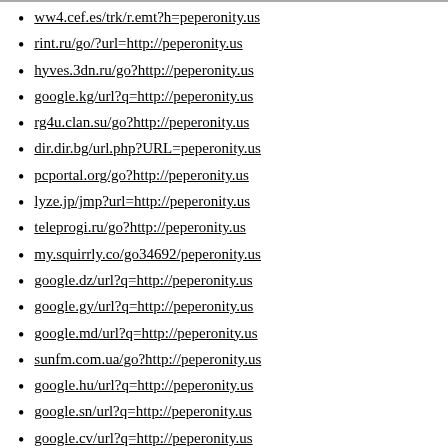ww4.cef.es/trk/r.emt?h=peperonity.us
rint.ru/go/?url=http://peperonity.us
hyves.3dn.ru/go?http://peperonity.us
google.kg/url?q=http://peperonity.us
rg4u.clan.su/go?http://peperonity.us
dir.dir.bg/url.php?URL=peperonity.us
pcportal.org/go?http://peperonity.us
lyze.jp/jmp?url=http://peperonity.us
teleprogi.ru/go?http://peperonity.us
my.squirrly.co/go34692/peperonity.us
google.dz/url?q=http://peperonity.us
google.gy/url?q=http://peperonity.us
google.md/url?q=http://peperonity.us
sunfm.com.ua/go?http://peperonity.us
google.hu/url?q=http://peperonity.us
google.sn/url?q=http://peperonity.us
google.cv/url?q=http://peperonity.us
google.st/url?q=http://peperonity.us
google.cf/url?q=http://peperonity.us